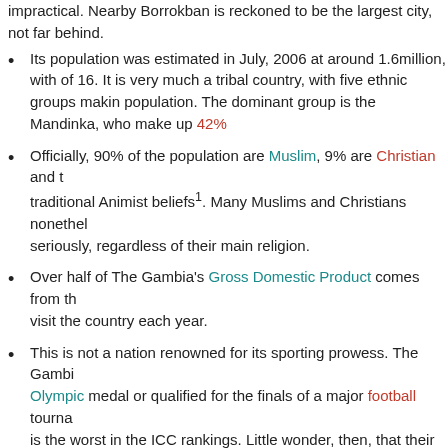impractical. Nearby Borrokban is reckoned to be the largest city, not far behind.
Its population was estimated in July, 2006 at around 1.6million, with of 16. It is very much a tribal country, with five ethnic groups making population. The dominant group is the Mandinka, who make up 42%
Officially, 90% of the population are Muslim, 9% are Christian and traditional Animist beliefs¹. Many Muslims and Christians nonetheless seriously, regardless of their main religion.
Over half of The Gambia's Gross Domestic Product comes from the visit the country each year.
This is not a nation renowned for its sporting prowess. The Gambia Olympic medal or qualified for the finals of a major football tournament is the worst in the ICC rankings. Little wonder, then, that their under celebrated. The 'Baby Scorpions' not only won the Africa section in Peru and beat Brazil in the final.
A Brief History
Very little is known of Gambia's inhabitants before the coming of the Europeans in the 15th and 16th Centuries. It is believed, but by no means certain, that the first settlers in the valley were the Jola, an ethnic group that still makes up around 10%